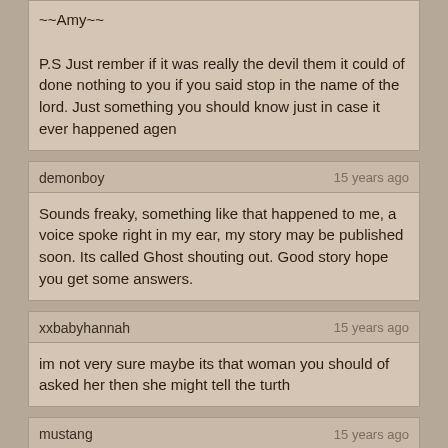~~Amy~~

P.S Just rember if it was really the devil them it could of done nothing to you if you said stop in the name of the lord. Just something you should know just in case it ever happened agen
demonboy | 15 years ago
Sounds freaky, something like that happened to me, a voice spoke right in my ear, my story may be published soon. Its called Ghost shouting out. Good story hope you get some answers.
xxbabyhannah | 15 years ago
im not very sure maybe its that woman you should of asked her then she might tell the turth
mustang | 15 years ago
Hi lshaffer. I must agree with Shane and whitebuffalo on this one. I honestly do not think that the devil would be in a bathroom at a bowling alley. I think the devil has a lot more evil